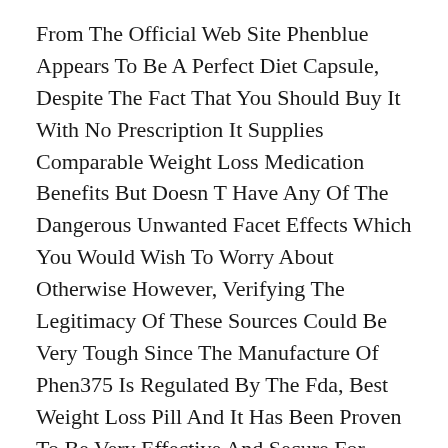From The Official Web Site Phenblue Appears To Be A Perfect Diet Capsule, Despite The Fact That You Should Buy It With No Prescription It Supplies Comparable Weight Loss Medication Benefits But Doesn T Have Any Of The Dangerous Unwanted Facet Effects Which You Would Wish To Worry About Otherwise However, Verifying The Legitimacy Of These Sources Could Be Very Tough Since The Manufacture Of Phen375 Is Regulated By The Fda, Best Weight Loss Pill And It Has Been Proven To Be Very Effective And Secure For Regular Use.
Phengold Is At Present Ranked As The 1 Urge For Food Suppressant In The Marketplace Right Now This Is As A Result Of Of Its Highly Effective Hunger Suppressing Components As Well As Fast Results Users Enjoy Phenq Is The Most Suitable Choice For Anybody Trying To Lose At Least 20 Pounds Or Extra Take A Look At Actual